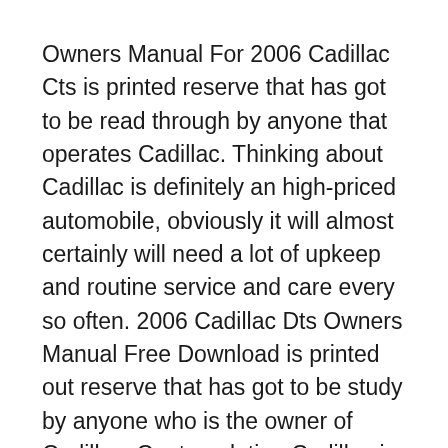Owners Manual For 2006 Cadillac Cts is printed reserve that has got to be read through by anyone that operates Cadillac. Thinking about Cadillac is definitely an high-priced automobile, obviously it will almost certainly will need a lot of upkeep and routine service and care every so often. 2006 Cadillac Dts Owners Manual Free Download is printed out reserve that has got to be study by anyone who is the owner of Cadillac. Contemplating Cadillac is definitely an costly auto, obviously it will probably will need plenty of upkeep and program support and attention ...
Here you can download file 2006 Cadillac CTS Owners Manual . 2shared gives you an excellent opportunity to store your files here and share